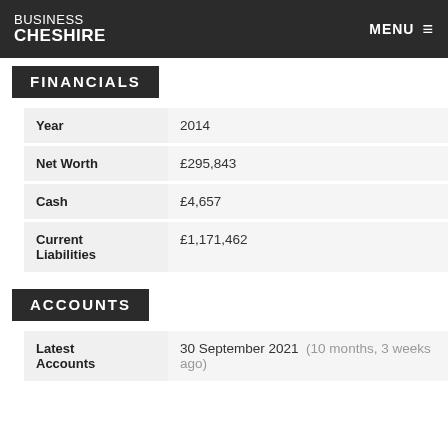BUSINESS CHESHIRE — MENU
FINANCIALS
| Field | Value |
| --- | --- |
| Year | 2014 |
| Net Worth | £295,843 |
| Cash | £4,657 |
| Current Liabilities | £1,171,462 |
ACCOUNTS
| Field | Value |
| --- | --- |
| Latest Accounts | 30 September 2021  (10 months, 3 weeks ago) |